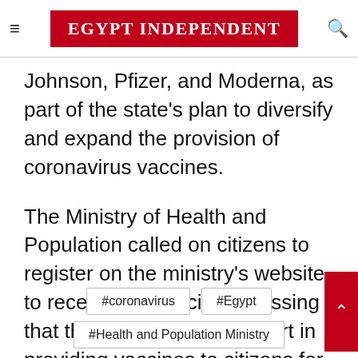EGYPT INDEPENDENT
Johnson, Pfizer, and Moderna, as part of the state's plan to diversify and expand the provision of coronavirus vaccines.
The Ministry of Health and Population called on citizens to register on the ministry's website to receive the vaccine, stressing that the state spares no effort in providing vaccines to citizens for free, through permanent cooperation with international organizations and bodies.
#coronavirus
#Egypt
#Health and Population Ministry